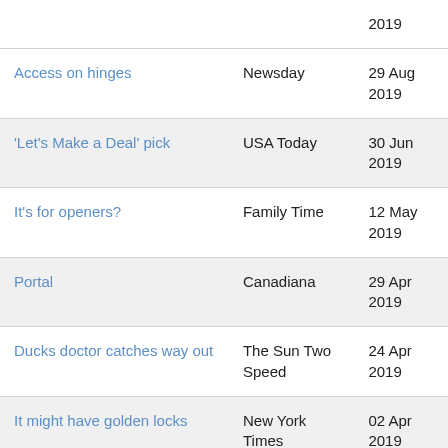| Title | Publication | Date |
| --- | --- | --- |
|  |  | 2019 |
| Access on hinges | Newsday | 29 Aug 2019 |
| 'Let's Make a Deal' pick | USA Today | 30 Jun 2019 |
| It's for openers? | Family Time | 12 May 2019 |
| Portal | Canadiana | 29 Apr 2019 |
| Ducks doctor catches way out | The Sun Two Speed | 24 Apr 2019 |
| It might have golden locks | New York Times | 02 Apr 2019 |